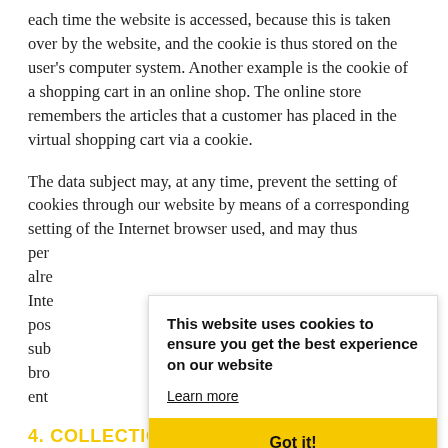each time the website is accessed, because this is taken over by the website, and the cookie is thus stored on the user's computer system. Another example is the cookie of a shopping cart in an online shop. The online store remembers the articles that a customer has placed in the virtual shopping cart via a cookie.
The data subject may, at any time, prevent the setting of cookies through our website by means of a corresponding setting of the Internet browser used, and may thus permanently deny the setting of cookies. Furthermore, already set cookies may be deleted at any time via an Internet browser or other software programs. This is possible in all popular Internet browsers. If the data subject deactivates the setting of cookies in the Internet browser used, not all functions of our website may be entirely usable.
[Figure (screenshot): Cookie consent banner overlay with text 'This website uses cookies to ensure you get the best experience on our website', a 'Learn more' link, and a yellow 'Got it!' button.]
4. COLLECTION OF GENERAL DATA AND